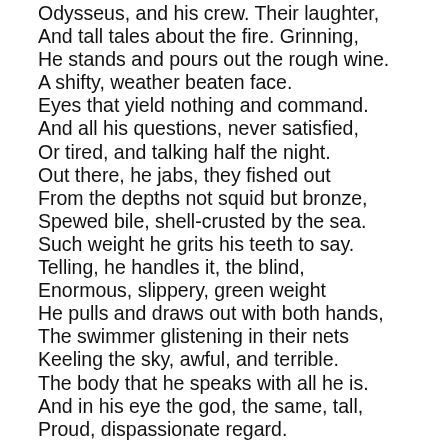Odysseus, and his crew. Their laughter,
And tall tales about the fire. Grinning,
He stands and pours out the rough wine.
A shifty, weather beaten face.
Eyes that yield nothing and command.
And all his questions, never satisfied,
Or tired, and talking half the night.
Out there, he jabs, they fished out
From the depths not squid but bronze,
Spewed bile, shell-crusted by the sea.
Such weight he grits his teeth to say.
Telling, he handles it, the blind,
Enormous, slippery, green weight
He pulls and draws out with both hands,
The swimmer glistening in their nets
Keeling the sky, awful, and terrible.
The body that he speaks with all he is.
And in his eye the god, the same, tall,
Proud, dispassionate regard.